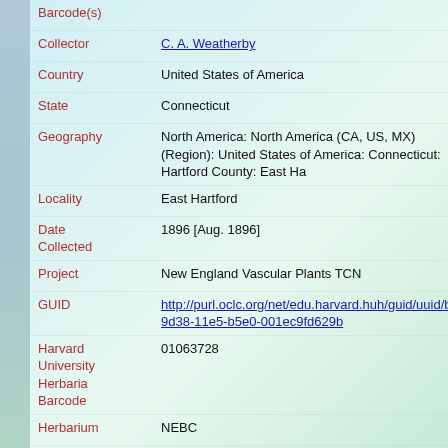Barcode(s)
Collector: C. A. Weatherby
Country: United States of America
State: Connecticut
Geography: North America: North America (CA, US, MX) (Region): United States of America: Connecticut: Hartford County: East Ha...
Locality: East Hartford
Date Collected: 1896 [Aug. 1896]
Project: New England Vascular Plants TCN
GUID: http://purl.oclc.org/net/edu.harvard.huh/guid/uuid/bdo...9d38-11e5-b5e0-001ec9fd629b
Harvard University Herbaria Barcode: 01063728
Herbarium: NEBC
Family: Orchidaceae
Determination: Spiranthes lacera var. gracilis (Bigelow) Luer
Determination Remarks: [is filed under name] [is Current name]
Preparation Type: Sheet